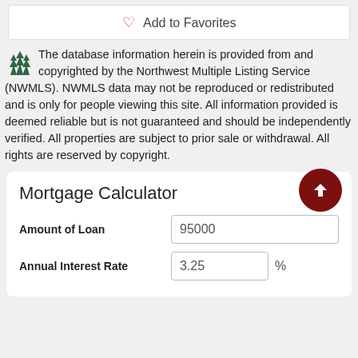[Figure (other): Add to Favorites button with heart icon]
The database information herein is provided from and copyrighted by the Northwest Multiple Listing Service (NWMLS). NWMLS data may not be reproduced or redistributed and is only for people viewing this site. All information provided is deemed reliable but is not guaranteed and should be independently verified. All properties are subject to prior sale or withdrawal. All rights are reserved by copyright.
Mortgage Calculator
Amount of Loan: 95000
Annual Interest Rate: 3.25 %